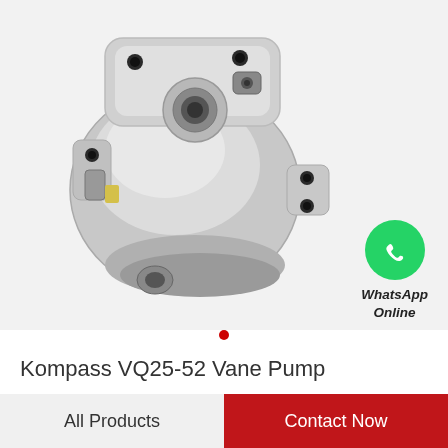[Figure (photo): Kompass VQ25-52 Vane Pump — a silver/aluminum hydraulic vane pump with black fittings and mounting ports, photographed on a white/light grey background.]
[Figure (logo): WhatsApp green circle logo with white phone handset icon, with text 'WhatsApp Online' below in bold italic.]
Kompass VQ25-52 Vane Pump
All Products
Contact Now